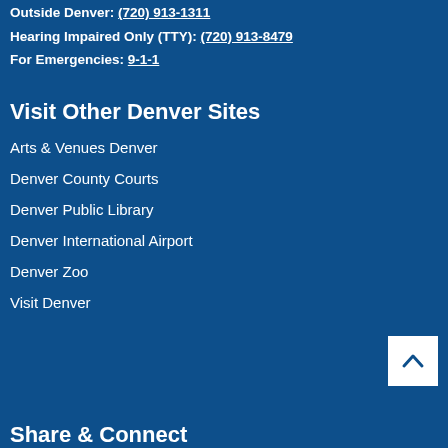Outside Denver: (720) 913-1311
Hearing Impaired Only (TTY): (720) 913-8479
For Emergencies: 9-1-1
Visit Other Denver Sites
Arts & Venues Denver
Denver County Courts
Denver Public Library
Denver International Airport
Denver Zoo
Visit Denver
Share & Connect